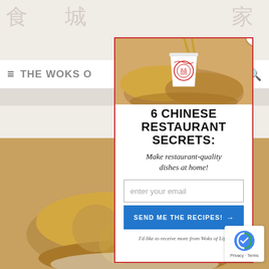THE WOKS OF LIFE
Brush the top, and place
[Figure (screenshot): Email signup modal popup for 'The Woks of Life' cooking website. Shows a Chinese takeout cup with chopsticks at the top, headline '6 CHINESE RESTAURANT SECRETS:', subtitle 'Make restaurant-quality dishes at home!', an email input field, a blue button 'SEND ME THE RECIPES! →', and disclaimer text 'I'd like to receive more from Woks of Life.' The modal has a red border and a close X button. Background shows the website with Chinese character watermarks and fried food imagery.]
I'd like to receive more from Woks of Life.